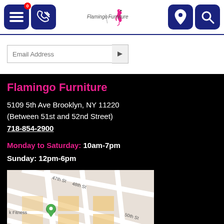Flamingo Furniture header with menu, call, logo, location, and search icons
Email Address input field
Flamingo Furniture
5109 5th Ave Brooklyn, NY 11220
(Between 51st and 52nd Street)
718-854-2900
Monday to Saturday: 10am-7pm
Sunday: 12pm-6pm
[Figure (map): Google Maps showing area around 5109 5th Ave, Brooklyn, NY 11220 with streets 47th St, 48th St, 50th St, 52nd St, 53rd St, 55th St, nearby McDonald's and k Fitness markers]